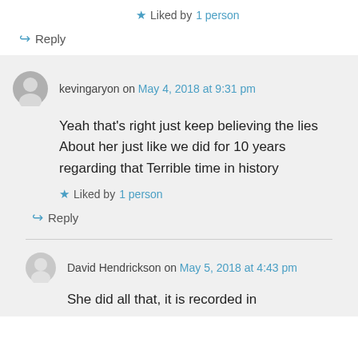★ Liked by 1 person
↪ Reply
kevingaryon on May 4, 2018 at 9:31 pm
Yeah that's right just keep believing the lies About her just like we did for 10 years regarding that Terrible time in history
★ Liked by 1 person
↪ Reply
David Hendrickson on May 5, 2018 at 4:43 pm
She did all that, it is recorded in